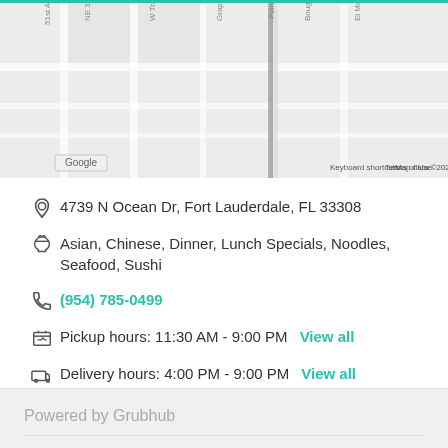[Figure (map): Google Maps street map showing area near Fort Lauderdale, FL with streets including NE 33rd Ave, W Tradewinds Ave, Grape Dr, Poinciana S, Bougainvilla D, El Mar D. Google logo visible in lower left. Map footer shows: Keyboard shortcuts, Map data ©2022, Terms of Use.]
4739 N Ocean Dr, Fort Lauderdale, FL 33308
Asian, Chinese, Dinner, Lunch Specials, Noodles, Seafood, Sushi
(954) 785-0499
Pickup hours: 11:30 AM - 9:00 PM   View all
Delivery hours: 4:00 PM - 9:00 PM   View all
Powered by Grubhub